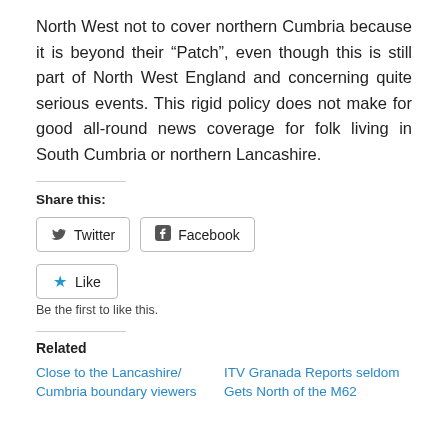North West not to cover northern Cumbria because it is beyond their “Patch”, even though this is still part of North West England and concerning quite serious events. This rigid policy does not make for good all-round news coverage for folk living in South Cumbria or northern Lancashire.
Share this:
[Figure (other): Twitter and Facebook share buttons]
[Figure (other): Like button with star icon]
Be the first to like this.
Related
Close to the Lancashire/ Cumbria boundary viewers
ITV Granada Reports seldom Gets North of the M62